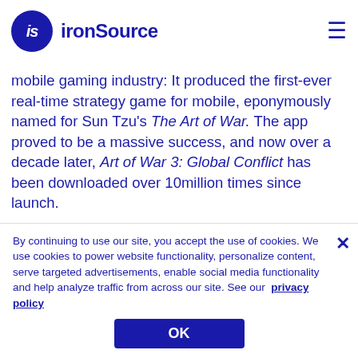ironSource
mobile gaming industry: It produced the first-ever real-time strategy game for mobile, eponymously named for Sun Tzu's The Art of War. The app proved to be a massive success, and now over a decade later, Art of War 3: Global Conflict has been downloaded over 10million times since launch.

As a long-time player in the space, Gear Games has always taken a multi-pronged approach to monetization. Its expertly crafted strategy games …
By continuing to use our site, you accept the use of cookies. We use cookies to power website functionality, personalize content, serve targeted advertisements, enable social media functionality and help analyze traffic from across our site. See our privacy policy